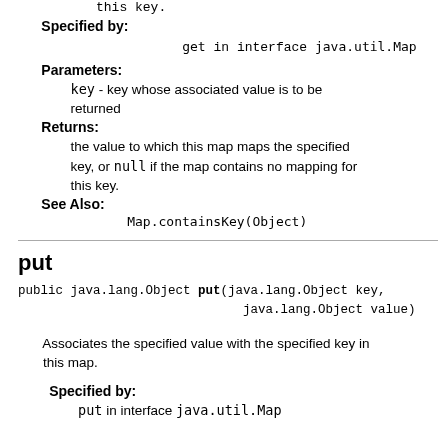this key.
Specified by:
get in interface java.util.Map
Parameters:
key - key whose associated value is to be returned
Returns:
the value to which this map maps the specified key, or null if the map contains no mapping for this key.
See Also:
Map.containsKey(Object)
put
public java.lang.Object put(java.lang.Object key, java.lang.Object value)
Associates the specified value with the specified key in this map.
Specified by:
put in interface java.util.Map